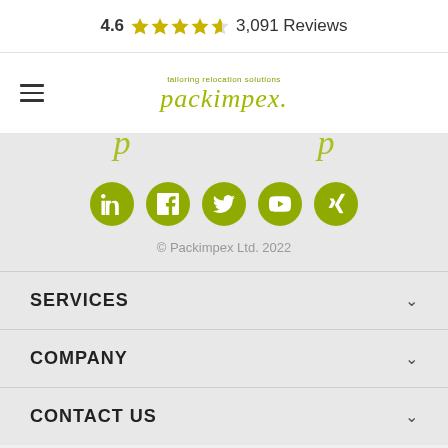4.6 ★★★★½ 3,091 Reviews
[Figure (logo): Packimpex logo with tagline 'tailoring relocation solutions' in olive/yellow-green cursive script]
[Figure (infographic): Five social media icons in olive green circles: LinkedIn, Facebook, Twitter, YouTube, Xing]
© Packimpex Ltd. 2022
SERVICES
COMPANY
CONTACT US